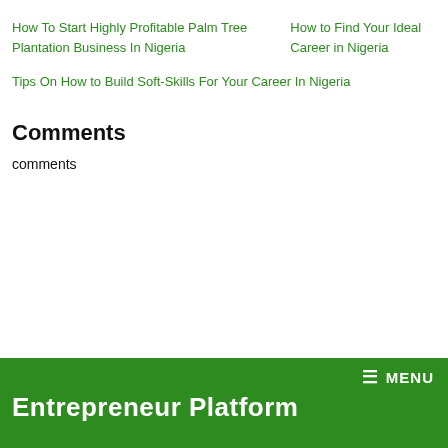How To Start Highly Profitable Palm Tree Plantation Business In Nigeria
How to Find Your Ideal Career in Nigeria
Tips On How to Build Soft-Skills For Your Career In Nigeria
Comments
comments
☰ MENU
Entrepreneur Platform